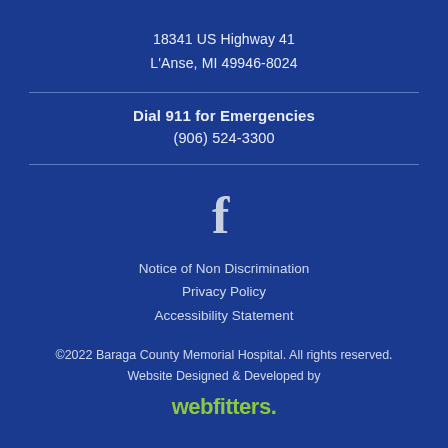18341 US Highway 41
L'Anse, MI 49946-8024
Dial 911 for Emergencies
(906) 524-3300
[Figure (illustration): Facebook 'f' logo icon in light grey/white color]
Notice of Non Discrimination
Privacy Policy
Accessibility Statement
©2022 Baraga County Memorial Hospital. All rights reserved.
Website Designed & Developed by
webfitters.